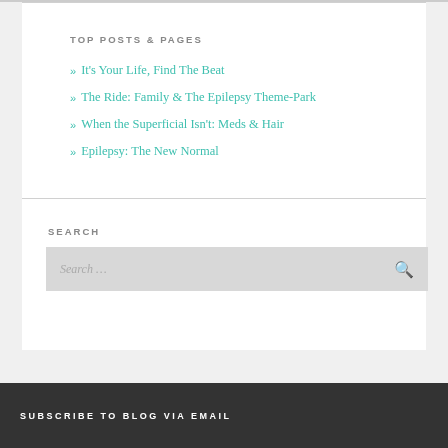TOP POSTS & PAGES
It's Your Life, Find The Beat
The Ride: Family & The Epilepsy Theme-Park
When the Superficial Isn't: Meds & Hair
Epilepsy: The New Normal
SEARCH
Search...
SUBSCRIBE TO BLOG VIA EMAIL